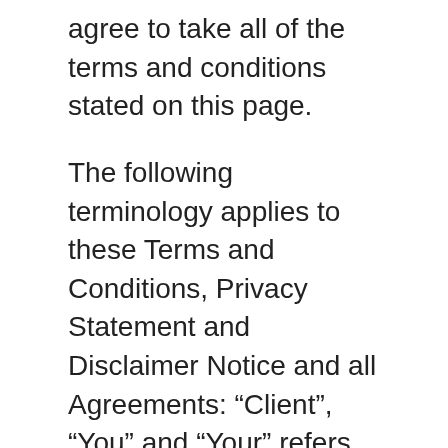agree to take all of the terms and conditions stated on this page.
The following terminology applies to these Terms and Conditions, Privacy Statement and Disclaimer Notice and all Agreements: “Client”, “You” and “Your” refers to you, the person log on this website and compliant to the Company’s terms and conditions. “The Company”, “Ourselves”, “We”, “Our” and “Us”, refers to our Company. “Party”, “Parties”, or “Us”, refers to both the Client and ourselves. All terms refer to the offer, acceptance and consideration of payment necessary to undertake the process of our assistance to the Client in the most appropriate manner for the express purpose of meeting the Client’s needs in respect of